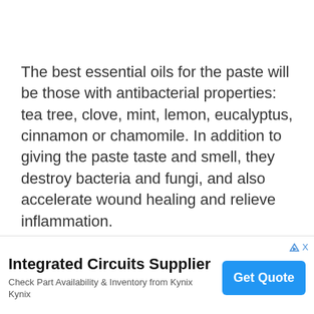The best essential oils for the paste will be those with antibacterial properties: tea tree, clove, mint, lemon, eucalyptus, cinnamon or chamomile. In addition to giving the paste taste and smell, they destroy bacteria and fungi, and also accelerate wound healing and relieve inflammation.
Xylitol can also be replaced with Stevia.
[Figure (other): Advertisement banner: Integrated Circuits Supplier. Check Part Availability & Inventory from Kynix. Kynix. Get Quote button.]